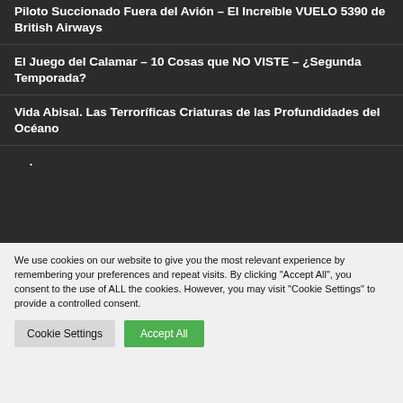Piloto Succionado Fuera del Avión – El Increíble VUELO 5390 de British Airways
El Juego del Calamar – 10 Cosas que NO VISTE – ¿Segunda Temporada?
Vida Abisal. Las Terroríficas Criaturas de las Profundidades del Océano
We use cookies on our website to give you the most relevant experience by remembering your preferences and repeat visits. By clicking "Accept All", you consent to the use of ALL the cookies. However, you may visit "Cookie Settings" to provide a controlled consent.
Cookie Settings | Accept All